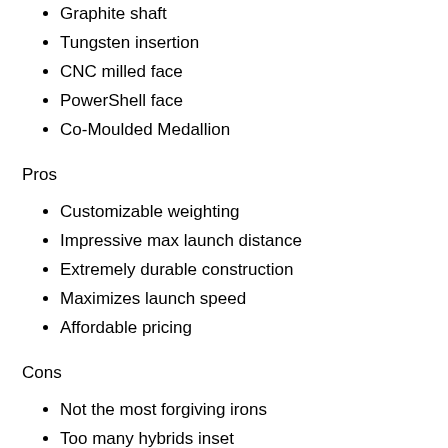Graphite shaft
Tungsten insertion
CNC milled face
PowerShell face
Co-Moulded Medallion
Pros
Customizable weighting
Impressive max launch distance
Extremely durable construction
Maximizes launch speed
Affordable pricing
Cons
Not the most forgiving irons
Too many hybrids inset